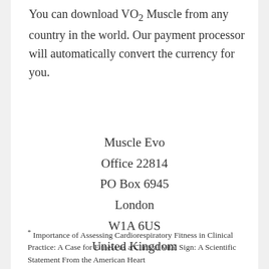You can download VO2 Muscle from any country in the world. Our payment processor will automatically convert the currency for you.
Muscle Evo
Office 22814
PO Box 6945
London
W1A 6US
United Kingdom
* Importance of Assessing Cardiorespiratory Fitness in Clinical Practice: A Case for Fitness as a Clinical Vital Sign: A Scientific Statement From the American Heart